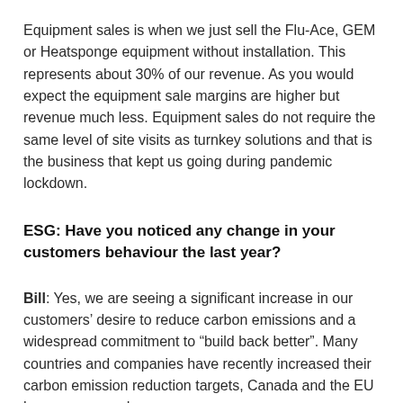Equipment sales is when we just sell the Flu-Ace, GEM or Heatsponge equipment without installation. This represents about 30% of our revenue. As you would expect the equipment sale margins are higher but revenue much less. Equipment sales do not require the same level of site visits as turnkey solutions and that is the business that kept us going during pandemic lockdown.
ESG: Have you noticed any change in your customers behaviour the last year?
Bill: Yes, we are seeing a significant increase in our customers' desire to reduce carbon emissions and a widespread commitment to “build back better”. Many countries and companies have recently increased their carbon emission reduction targets, Canada and the EU have announced